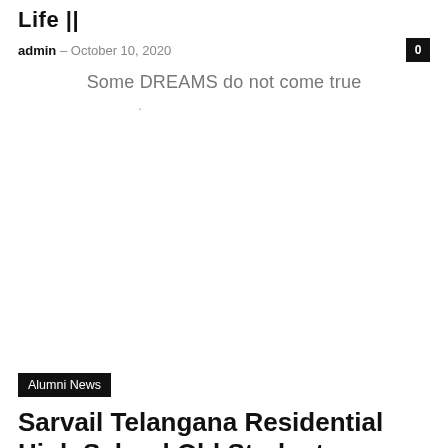Life ||
admin – October 10, 2020
Some DREAMS do not come true
Alumni News
Sarvail Telangana Residential High School Old Students Gathering
admin – August 19, 2020